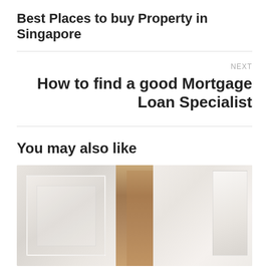Best Places to buy Property in Singapore
NEXT
How to find a good Mortgage Loan Specialist
You may also like
[Figure (photo): Interior room photo showing white paneled walls and a wooden door in the center]